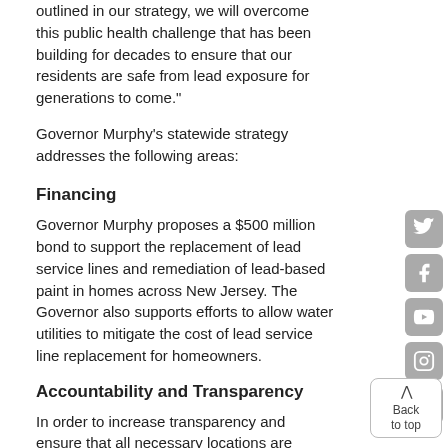outlined in our strategy, we will overcome this public health challenge that has been building for decades to ensure that our residents are safe from lead exposure for generations to come."
Governor Murphy's statewide strategy addresses the following areas:
Financing
Governor Murphy proposes a $500 million bond to support the replacement of lead service lines and remediation of lead-based paint in homes across New Jersey. The Governor also supports efforts to allow water utilities to mitigate the cost of lead service line replacement for homeowners.
Accountability and Transparency
In order to increase transparency and ensure that all necessary locations are tested for lead within the appropriate timeframes, the New Jersey Departments of Children and Families, Community Affairs, Education, Environmental Protection, Health, and Human Services will collaborate to establish a publicly available, comprehensive lead testing strategy that addresses housing, schools, and daycare facilities. The strategy will address necessary disclosures and notifications for residents, as well as enforcement mechanisms to ensure compliance with testing, disclosure, notification, remediation, and abatement requirements.